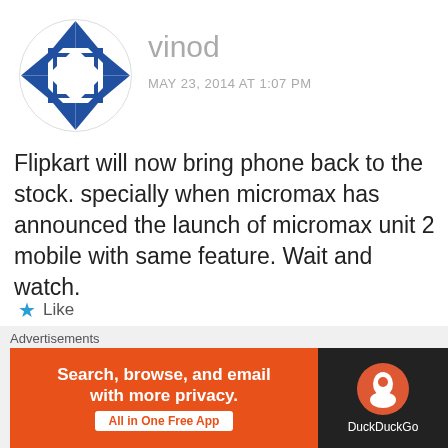[Figure (logo): Blue and white geometric diamond/square pattern avatar for user vinod]
vinod
MAY 23, 2014 AT 1:07 PM
Flipkart will now bring phone back to the stock. specially when micromax has announced the launch of micromax unit 2 mobile with same feature. Wait and watch.
★ Like
REPLY
Advertisements
Search, browse, and email with more privacy. All in One Free App